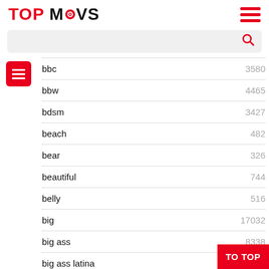TOP MOVS
bbc 3580
bbw 4465
bdsm 3427
beach 482
bear 326
beautiful 744
belly 516
big 17032
big ass 8338
big ass latina 106...
big black cock 759